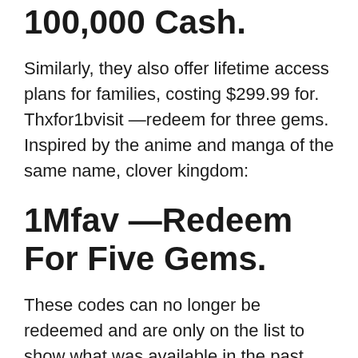100,000 Cash.
Similarly, they also offer lifetime access plans for families, costing $299.99 for. Thxfor1bvisit —redeem for three gems. Inspired by the anime and manga of the same name, clover kingdom:
1Mfav —Redeem For Five Gems.
These codes can no longer be redeemed and are only on the list to show what was available in the past. We've been teaching new developers to build games online for over 5 years and within the past few years have shifted entirely to roblox. 1mfav —redeem for five…